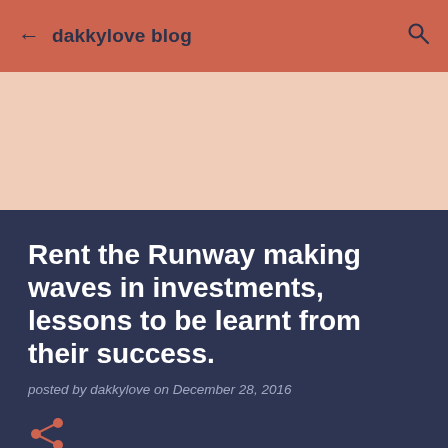dakkylove blog
Rent the Runway making waves in investments, lessons to be learnt from their success.
posted by dakkylove on December 28, 2016
[Figure (other): Share icon (salmon colored network share symbol)]
[Figure (photo): Broken image placeholder with alt text: rent-the-runway]
Rent the Runway is an American online Apparel company who seem to be breaking boundaries